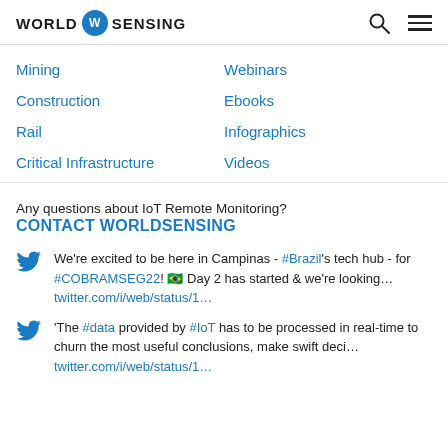WORLD SENSING
Mining
Construction
Rail
Critical Infrastructure
Webinars
Ebooks
Infographics
Videos
Any questions about IoT Remote Monitoring?
CONTACT WORLDSENSING
We're excited to be here in Campinas - #Brazil's tech hub - for #COBRAMSEG22! 🇧🇷 Day 2 has started & we're looking… twitter.com/i/web/status/1…
'The #data provided by #IoT has to be processed in real-time to churn the most useful conclusions, make swift deci… twitter.com/i/web/status/1…